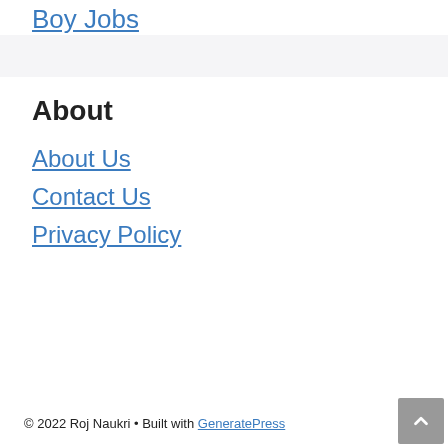Boy Jobs
About
About Us
Contact Us
Privacy Policy
© 2022 Roj Naukri • Built with GeneratePress